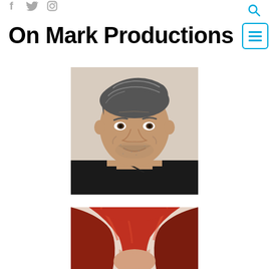Social icons (Facebook, Twitter, Instagram) and search icon
On Mark Productions
[Figure (photo): Headshot of a middle-aged man with salt-and-pepper hair, beard stubble, wearing a black jacket with a necklace, against a light background]
[Figure (photo): Partial photo of a woman with red hair, top portion of head visible]